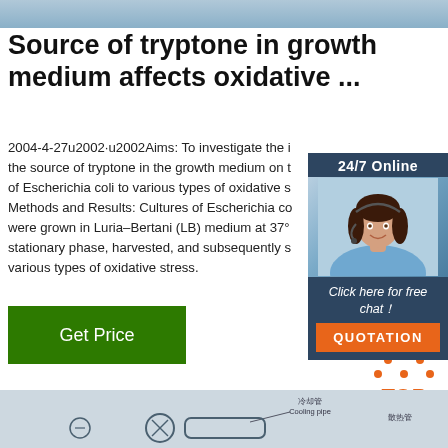Source of tryptone in growth medium affects oxidative ...
2004-4-27u2002·u2002Aims: To investigate the influence of the source of tryptone in the growth medium on the resistance of Escherichia coli to various types of oxidative stress. Methods and Results: Cultures of Escherichia coli were grown in Luria–Bertani (LB) medium at 37°, stationary phase, harvested, and subsequently subjected to various types of oxidative stress.
[Figure (photo): 24/7 Online chat widget with a female customer service agent wearing a headset, with a 'Click here for free chat!' message and an orange QUOTATION button]
Get Price
[Figure (logo): Orange and white TOP icon with dots arranged in a triangle above the text TOP]
[Figure (engineering-diagram): Technical diagram showing cooling pipe (冷却管 Cooling pipe) and heat dissipation pipe (散热管) labels with schematic components]